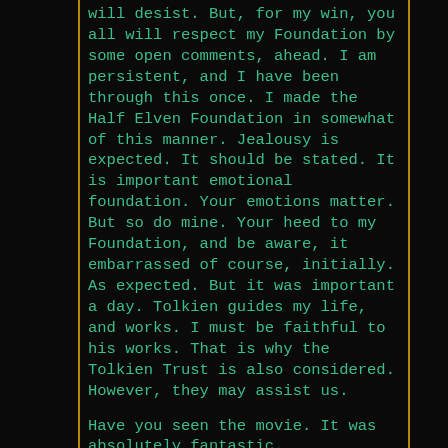will desist. But, for my win, you all will respect my Foundation by some open comments, ahead. I am persistent, and I have been through this once. I made the Half Elven Foundation in somewhat of this manner. Jealousy is expected. It should be stated. It is important emotional foundation. Your emotions matter. But so do mine. Your heed to my Foundation, and be aware, it embarrassed of course, initially. As expected. But it was important a day. Tolkien guides my life, and works. I must be faithful to his works. That is why the Tolkien Trust is also considered. However, they may assist us.
Have you seen the movie. It was absolutely fantastic.
Nazgul Friend. And Sauron's Palantir is at Barad Dur. And Aragorn is a Wraith of Carn Dum. Frodo's wraith was